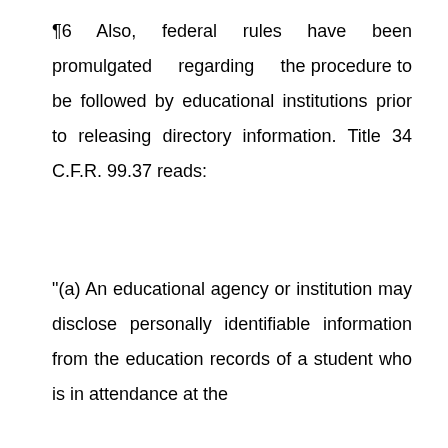¶6 Also, federal rules have been promulgated regarding the procedure to be followed by educational institutions prior to releasing directory information. Title 34 C.F.R. 99.37 reads:
"(a) An educational agency or institution may disclose personally identifiable information from the education records of a student who is in attendance at the